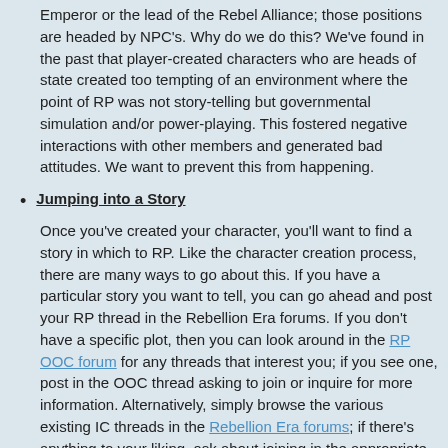Emperor or the lead of the Rebel Alliance; those positions are headed by NPC's. Why do we do this? We've found in the past that player-created characters who are heads of state created too tempting of an environment where the point of RP was not story-telling but governmental simulation and/or power-playing. This fostered negative interactions with other members and generated bad attitudes. We want to prevent this from happening.
Jumping into a Story
Once you've created your character, you'll want to find a story in which to RP. Like the character creation process, there are many ways to go about this. If you have a particular story you want to tell, you can go ahead and post your RP thread in the Rebellion Era forums. If you don't have a specific plot, then you can look around in the RP OOC forum for any threads that interest you; if you see one, post in the OOC thread asking to join or inquire for more information. Alternatively, simply browse the various existing IC threads in the Rebellion Era forums; if there's anything to your liking, ask about joining in the appropriate OOC thread, or PM the thread's author.
Please note that some threads will be labelled as Open, Closed, or will not possess a label. These terms have different meanings: